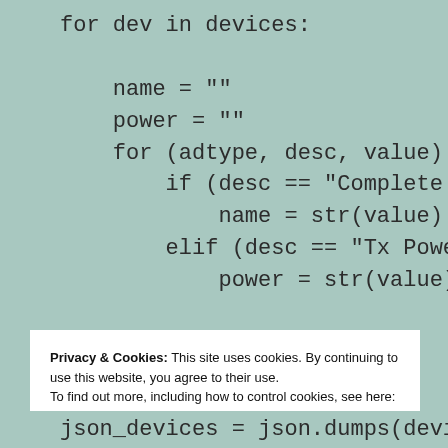for dev in devices:
    name = ""
    power = ""
    for (adtype, desc, value) i
        if (desc == "Complete L
            name = str(value)
        elif (desc == "Tx Power
            power = str(value)
Privacy & Cookies: This site uses cookies. By continuing to use this website, you agree to their use.
To find out more, including how to control cookies, see here: Cookie Policy
Close and accept
json_devices = json.dumps(devic